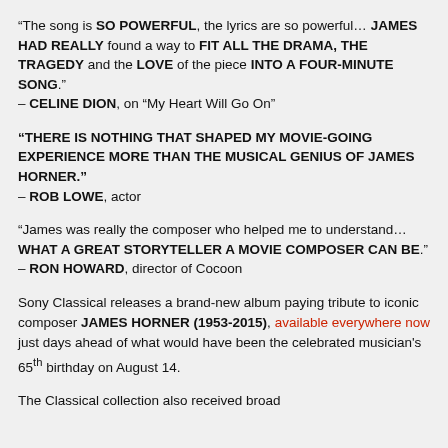“The song is SO POWERFUL, the lyrics are so powerful… JAMES HAD REALLY found a way to FIT ALL THE DRAMA, THE TRAGEDY and the LOVE of the piece INTO A FOUR-MINUTE SONG.”
– CELINE DION, on “My Heart Will Go On”
“THERE IS NOTHING THAT SHAPED MY MOVIE-GOING EXPERIENCE MORE THAN THE MUSICAL GENIUS OF JAMES HORNER.”
– ROB LOWE, actor
“James was really the composer who helped me to understand… WHAT A GREAT STORYTELLER A MOVIE COMPOSER CAN BE.”
– RON HOWARD, director of Cocoon
Sony Classical releases a brand-new album paying tribute to iconic composer JAMES HORNER (1953-2015), available everywhere now just days ahead of what would have been the celebrated musician’s 65th birthday on August 14.
The Classical collection also received broad...